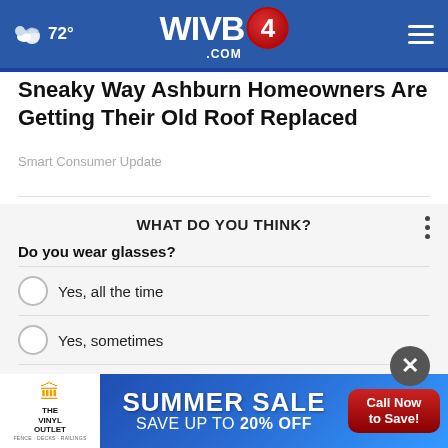72° WIVB4.COM
Sneaky Way Ashburn Homeowners Are Getting Their Old Roof Replaced
Smart Consumer Update
WHAT DO YOU THINK?
Do you wear glasses?
Yes, all the time
Yes, sometimes
No, but I wear contacts
[Figure (other): Advertisement banner: The Vinyl Outlet – SUMMER SALE SAVE UP TO 20% OFF – Call Now to Save!]